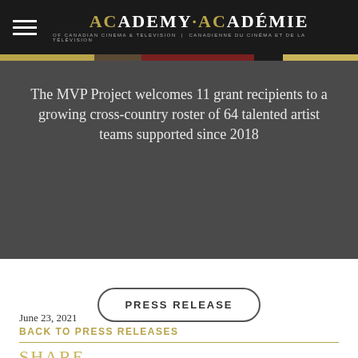ACADEMY · ACADÉMIE OF CANADIAN CINEMA & TELEVISION | CANADIENNE DU CINÉMA ET DE LA TÉLÉVISION
The MVP Project welcomes 11 grant recipients to a growing cross-country roster of 64 talented artist teams supported since 2018
PRESS RELEASE
June 23, 2021
BACK TO PRESS RELEASES
SHARE